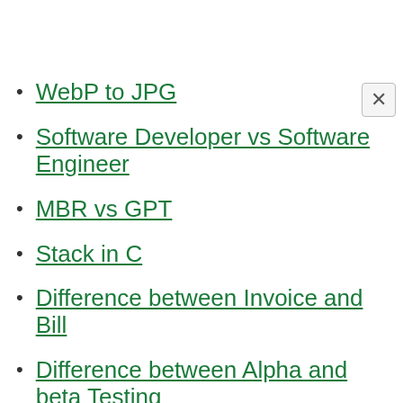WebP to JPG
Software Developer vs Software Engineer
MBR vs GPT
Stack in C
Difference between Invoice and Bill
Difference between Alpha and beta Testing
Woocommerce vs Shopify
Postgresql vs Mysql
Difference between C and C++
Row vs Column